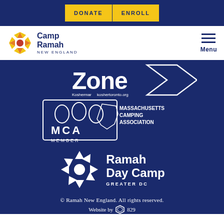[Figure (logo): Navigation bar with DONATE and ENROLL yellow buttons on dark navy header, Camp Ramah New England logo on white bar with hamburger Menu icon]
[Figure (logo): Zone logo in white text with arrow graphic on dark navy background, with small Kosher text below]
[Figure (logo): Massachusetts Camping Association MCA Member logo in white on dark navy background]
[Figure (logo): Ramah Day Camp Greater DC logo in white with geometric star icon on dark navy background]
© Ramah New England. All rights reserved.
Website by 829